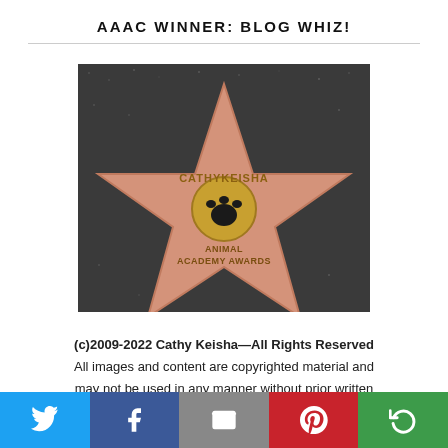AAAC WINNER: BLOG WHIZ!
[Figure (photo): A Hollywood Walk of Fame style star tile with a pink star shape on dark textured background. Text on star reads 'CATHYKEISHA' above a paw print icon, then 'ANIMAL ACADEMY AWARDS' below.]
(c)2009-2022 Cathy Keisha—All Rights Reserved All images and content are copyrighted material and may not be used in any manner without prior written permission from the author.
Twitter | Facebook | Email | Pinterest | Share